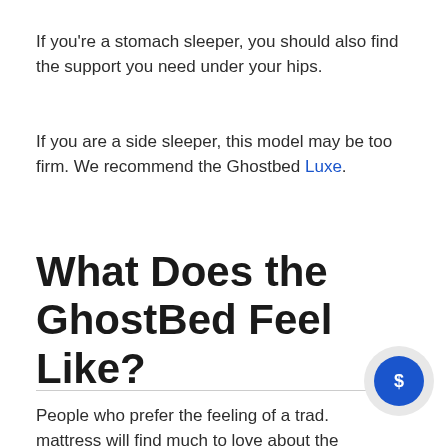If you're a stomach sleeper, you should also find the support you need under your hips.
If you are a side sleeper, this model may be too firm. We recommend the Ghostbed Luxe.
What Does the GhostBed Feel Like?
People who prefer the feeling of a trad. mattress will find much to love about the GhostBed.
[Figure (illustration): Chat bubble icon with dollar sign, circular grey background with blue circle containing a white dollar sign symbol]